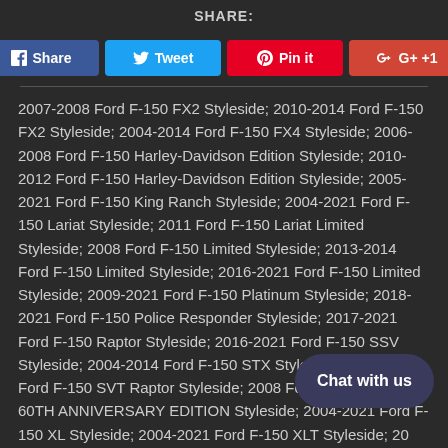SHARE:
[Figure (other): Social share buttons: Facebook Share, Twitter Tweet, Pinterest Pin it, Google+ +1]
2007-2008 Ford F-150 FX2 Styleside; 2010-2014 Ford F-150 FX2 Styleside; 2004-2014 Ford F-150 FX4 Styleside; 2006-2008 Ford F-150 Harley-Davidson Edition Styleside; 2010-2012 Ford F-150 Harley-Davidson Edition Styleside; 2005-2021 Ford F-150 King Ranch Styleside; 2004-2021 Ford F-150 Lariat Styleside; 2011 Ford F-150 Lariat Limited Styleside; 2008 Ford F-150 Limited Styleside; 2013-2014 Ford F-150 Limited Styleside; 2016-2021 Ford F-150 Limited Styleside; 2009-2021 Ford F-150 Platinum Styleside; 2018-2021 Ford F-150 Police Responder Styleside; 2017-2021 Ford F-150 Raptor Styleside; 2016-2021 Ford F-150 SSV Styleside; 2004-2014 Ford F-150 STX Styleside; 2010-2014 Ford F-150 SVT Raptor Styleside; 2008 Ford F-150 THE 60TH ANNIVERSARY EDITION Styleside; 2004-2021 Ford F-150 XL Styleside; 2004-2021 Ford F-150 XLT Styleside; 20... Mark LT; 2014-2021 Toyota Tundra 1794... 3 Toyota Tundra Base; 2007-2021 Toyota Tundra Limited; 2021 Toyota Tundra Nightshade; 2013-2021 Toyota Tundra